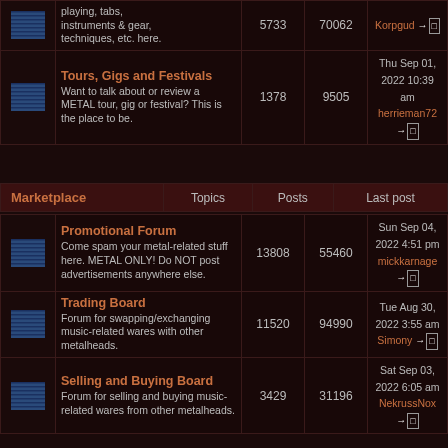|  | Forum | Topics | Posts | Last post |
| --- | --- | --- | --- | --- |
| [icon] | playing, tabs, instruments & gear, techniques, etc. here. | 5733 | 70062 | Korpgud →□ |
| [icon] | Tours, Gigs and Festivals
Want to talk about or review a METAL tour, gig or festival? This is the place to be. | 1378 | 9505 | Thu Sep 01, 2022 10:39 am
herrieman72 →□ |
Marketplace
|  | Forum | Topics | Posts | Last post |
| --- | --- | --- | --- | --- |
| [icon] | Promotional Forum
Come spam your metal-related stuff here. METAL ONLY! Do NOT post advertisements anywhere else. | 13808 | 55460 | Sun Sep 04, 2022 4:51 pm
mickkarnage →□ |
| [icon] | Trading Board
Forum for swapping/exchanging music-related wares with other metalheads. | 11520 | 94990 | Tue Aug 30, 2022 3:55 am
Simony →□ |
| [icon] | Selling and Buying Board
Forum for selling and buying music-related wares from other metalheads. | 3429 | 31196 | Sat Sep 03, 2022 6:05 am
NekrussNox →□ |